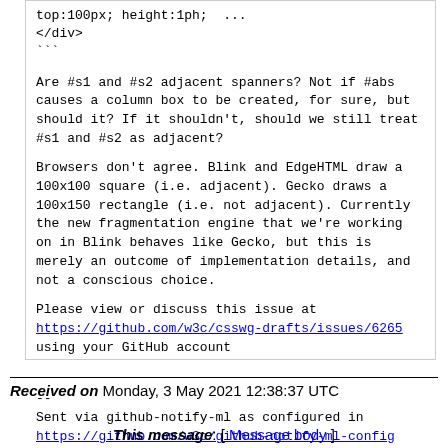top:100px; height:1ph; ...
</div>
```
Are #s1 and #s2 adjacent spanners? Not if #abs causes a column box to be created, for sure, but should it? If it shouldn't, should we still treat #s1 and #s2 as adjacent?
Browsers don't agree. Blink and EdgeHTML draw a 100x100 square (i.e. adjacent). Gecko draws a 100x150 rectangle (i.e. not adjacent). Currently the new fragmentation engine that we're working on in Blink behaves like Gecko, but this is merely an outcome of implementation details, and not a conscious choice.
Please view or discuss this issue at https://github.com/w3c/csswg-drafts/issues/6265 using your GitHub account
--
Sent via github-notify-ml as configured in https://github.com/w3c/github-notify-ml-config
Received on Monday, 3 May 2021 12:38:37 UTC
This message: [ Message body ]